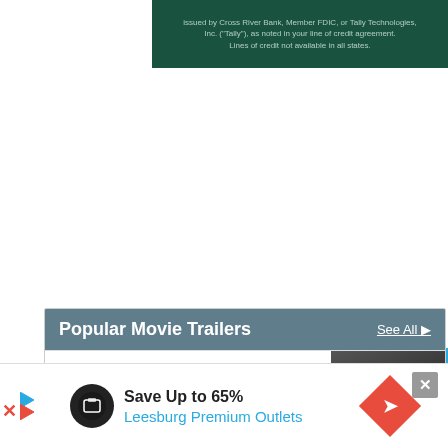[Figure (other): Dark green banner with light text: 'issued by Cross River Bank, Member FDIC, or Tally Technologies, Inc. ("Tally"), as noted in your line of credit agreement. Lines of credit not available in all states.']
FEEDBACK
Popular Movie Trailers
See All ▶
BULLET TRAIN Trailer 2
162,423 views
[Figure (photo): Thumbnail image for Bullet Train Trailer 2, dark/cinema scene]
[Figure (other): Bottom advertisement banner: Save Up to 65% Leesburg Premium Outlets, with play icon, brand logo circle, and red diamond direction sign]
Save Up to 65%
Leesburg Premium Outlets